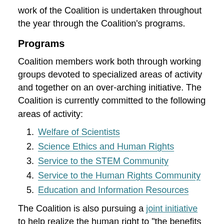work of the Coalition is undertaken throughout the year through the Coalition's programs.
Programs
Coalition members work both through working groups devoted to specialized areas of activity and together on an over-arching initiative. The Coalition is currently committed to the following areas of activity:
1. Welfare of Scientists
2. Science Ethics and Human Rights
3. Service to the STEM Community
4. Service to the Human Rights Community
5. Education and Information Resources
The Coalition is also pursuing a joint initiative to help realize the human right to “the benefits of scientific